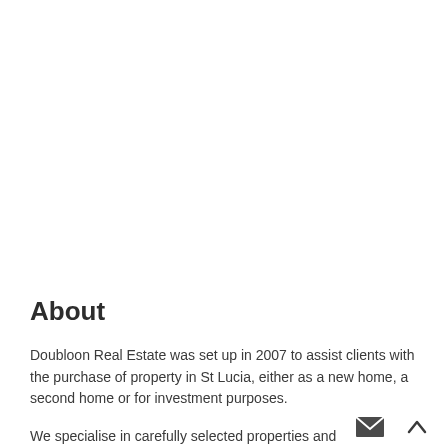About
Doubloon Real Estate was set up in 2007 to assist clients with the purchase of property in St Lucia, either as a new home, a second home or for investment purposes.
We specialise in carefully selected properties and development. We